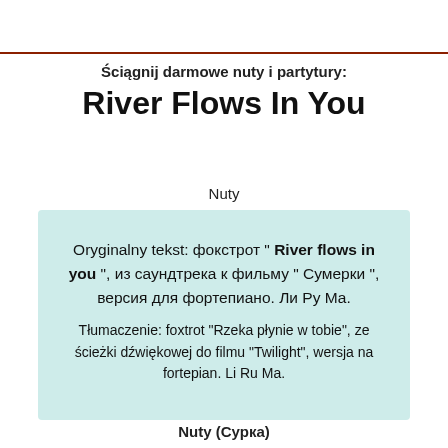Ściągnij darmowe nuty i partytury: River Flows In You
Nuty
Oryginalny tekst: фокстрот " River flows in you ", из саундтрека к фильму " Сумерки ", версия для фортепиано. Ли Ру Ма.
Tłumaczenie: foxtrot "Rzeka płynie w tobie", ze ścieżki dźwiękowej do filmu "Twilight", wersja na fortepian. Li Ru Ma.
Nuty (Сурка)